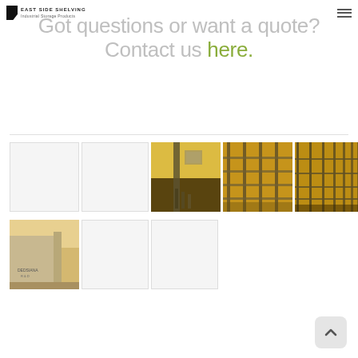Logo and navigation menu
Got questions or want a quote? Contact us here.
[Figure (photo): Grid of warehouse/storage shelving photos in warm golden tones, showing industrial shelving units and a building exterior]
[Figure (photo): Second row of gallery photos including a building exterior shot and blank white cells]